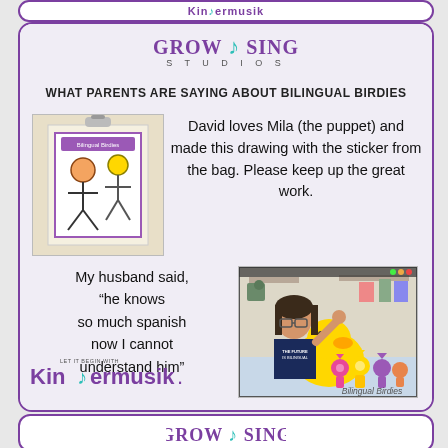Kindermusik
GROW & SING STUDIOS
WHAT PARENTS ARE SAYING ABOUT BILINGUAL BIRDIES
[Figure (photo): Child's drawing with a Bilingual Birdies sticker/bag]
David loves Mila (the puppet) and made this drawing with the sticker from the bag. Please keep up the great work.
My husband said, “he knows so much spanish now I cannot understand him”
[Figure (photo): Screenshot of a video call showing a girl waving next to a yellow duck plush toy, wearing a shirt that says THE FUTURE IS BILINGUAL]
[Figure (logo): Kindermusik logo - Let It Begin With Kindermusik]
[Figure (logo): Bilingual Birdies logo with cartoon bird characters]
[Figure (logo): Grow & Sing Studios logo at bottom (partial card)]